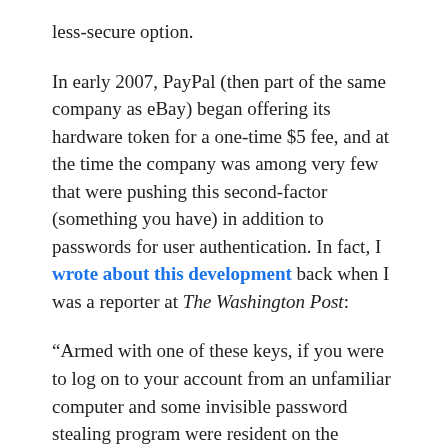less-secure option.
In early 2007, PayPal (then part of the same company as eBay) began offering its hardware token for a one-time $5 fee, and at the time the company was among very few that were pushing this second-factor (something you have) in addition to passwords for user authentication. In fact, I wrote about this development back when I was a reporter at The Washington Post:
“Armed with one of these keys, if you were to log on to your account from an unfamiliar computer and some invisible password stealing program were resident on the machine, the bad guys would still be required to know the